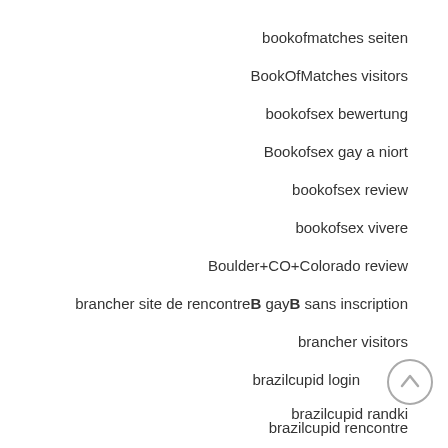bookofmatches seiten
BookOfMatches visitors
bookofsex bewertung
Bookofsex gay a niort
bookofsex review
bookofsex vivere
Boulder+CO+Colorado review
brancher site de rencontreB gayB sans inscription
brancher visitors
brazilcupid login
brazilcupid randki
brazilcupid rencontre